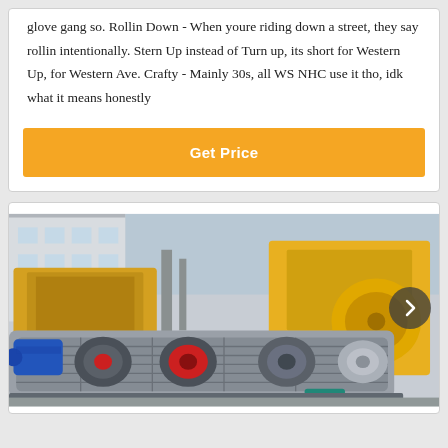glove gang so. Rollin Down - When youre riding down a street, they say rollin intentionally. Stern Up instead of Turn up, its short for Western Up, for Western Ave. Crafty - Mainly 30s, all WS NHC use it tho, idk what it means honestly
[Figure (other): Orange 'Get Price' button]
[Figure (photo): Industrial machinery yard showing multiple large yellow crushers and a grey roller/drum machine in the foreground with a blue electric motor, set against a building background.]